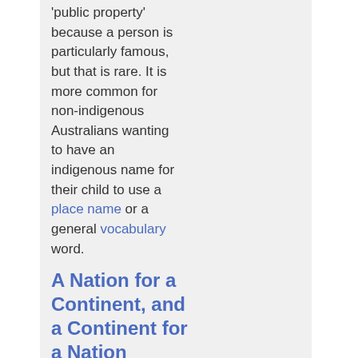'public property' because a person is particularly famous, but that is rare. It is more common for non-indigenous Australians wanting to have an indigenous name for their child to use a place name or a general vocabulary word.
A Nation for a Continent, and a Continent for a Nation
Possibly because Australia is one huge continent and one huge nation, we forget that the indigenous people in Australia were not one homogenous mass, but hundreds of distinct groups, with their own customs, languages,